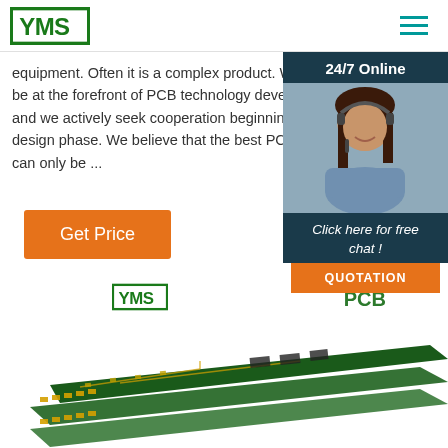YMS logo and navigation
equipment. Often it is a complex product. We seek to be at the forefront of PCB technology deve... and we actively seek cooperation beginnin... design phase. We believe that the best PCB can only be ...
[Figure (photo): Customer service representative with headset, 24/7 Online chat widget with QUOTATION button]
[Figure (illustration): Get Price orange button]
[Figure (logo): YMS logo small]
PCB
[Figure (photo): Green PCB circuit boards stacked diagonally]